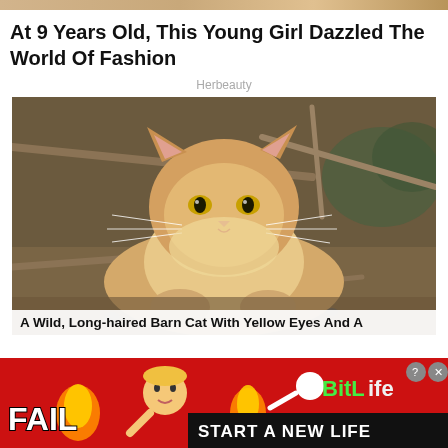[Figure (photo): Partial top strip showing previous article image (cropped)]
At 9 Years Old, This Young Girl Dazzled The World Of Fashion
Herbeauty
[Figure (photo): A wild, long-haired orange/cream barn cat with yellow-green eyes lying on dirt ground beneath bare tree branches, looking directly at the camera.]
A Wild, Long-haired Barn Cat With Yellow Eyes And A
[Figure (infographic): BitLife advertisement banner with red background showing FAIL text, cartoon girl illustration, flame emoji, sperm icon and BitLife logo, and START A NEW LIFE text on black bar]